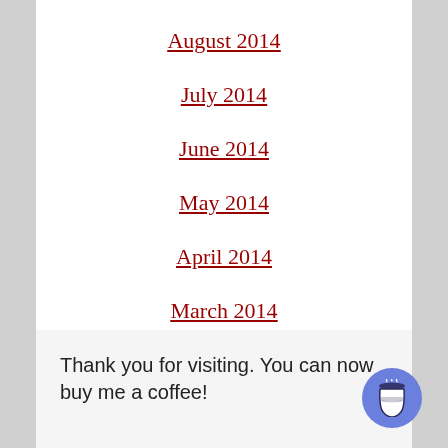August 2014
July 2014
June 2014
May 2014
April 2014
March 2014
February 2014
Thank you for visiting. You can now buy me a coffee!